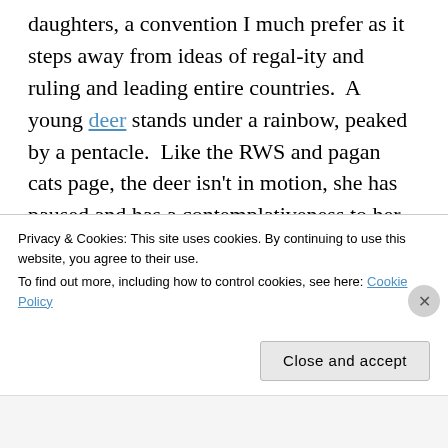daughters, a convention I much prefer as it steps away from ideas of regal-ity and ruling and leading entire countries.  A young deer stands under a rainbow, peaked by a pentacle.  Like the RWS and pagan cats page, the deer isn't in motion, she has paused and has a contemplativeness to her.  Despite her youth and her unsteady legs, she is ready to meet the world.  The use of a young deer reflects the child like way in which this deer explores and appreciates what's around her.  She is
Privacy & Cookies: This site uses cookies. By continuing to use this website, you agree to their use.
To find out more, including how to control cookies, see here: Cookie Policy
Close and accept